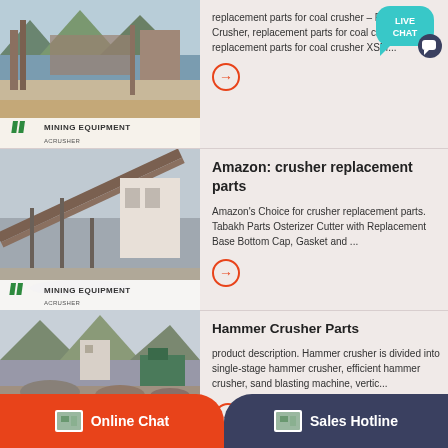[Figure (photo): Mining equipment / crusher facility photo with 'MINING EQUIPMENT ACRUSHER' overlay, row 1]
replacement parts for coal crusher – Feldspar Crusher, replacement parts for coal crusher replacement parts for coal crusher XSM...
[Figure (photo): Mining equipment conveyor belt facility photo with 'MINING EQUIPMENT ACRUSHER' overlay, row 2]
Amazon: crusher replacement parts
Amazon's Choice for crusher replacement parts. Tabakh Parts Osterizer Cutter with Replacement Base Bottom Cap, Gasket and ...
[Figure (photo): Mining equipment outdoor quarry/crusher site photo with 'MINING EQUIPMENT ACRUSHER' overlay, row 3]
Hammer Crusher Parts
product description. Hammer crusher is divided into single-stage hammer crusher, efficient hammer crusher, sand blasting machine, vertic...
Online Chat
Sales Hotline